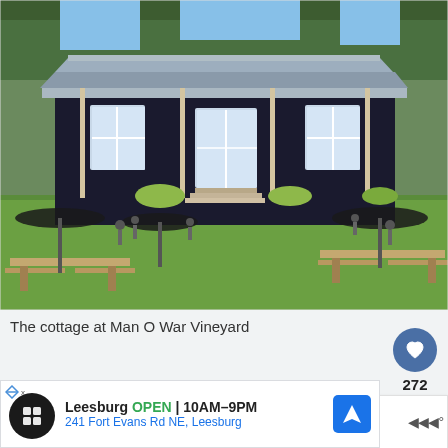[Figure (photo): Photograph of the cottage at Man O War Vineyard — a dark-painted single-story building with a wide veranda, white-framed windows and French doors, surrounded by green lawn, picnic tables with black umbrellas, and trees in the background.]
The cottage at Man O War Vineyard
[Figure (infographic): Like button (heart icon on blue circle) with count 272 below, and a share button (share icon on white circle) below that.]
[Figure (infographic): WHAT'S NEXT arrow card showing a thumbnail image and text '8 great restaurants i...']
[Figure (infographic): Advertisement banner: Leesburg OPEN 10AM-9PM, 241 Fort Evans Rd NE, Leesburg, with a navigation icon. Small ad badge and weather icon on right.]